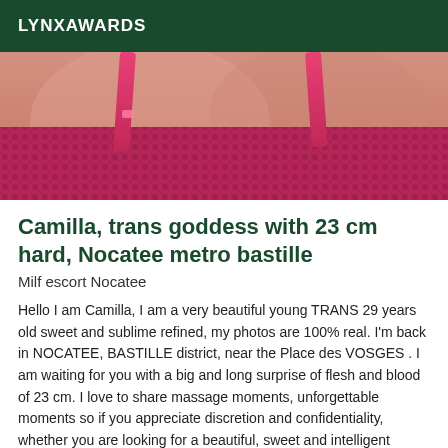LYNXAWARDS
[Figure (photo): Close-up photo of a person wearing a pink/magenta lace bra, showing upper torso area with skin visible above the bra.]
Camilla, trans goddess with 23 cm hard, Nocatee metro bastille
Milf escort Nocatee
Hello I am Camilla, I am a very beautiful young TRANS 29 years old sweet and sublime refined, my photos are 100% real. I'm back in NOCATEE, BASTILLE district, near the Place des VOSGES . I am waiting for you with a big and long surprise of flesh and blood of 23 cm. I love to share massage moments, unforgettable moments so if you appreciate discretion and confidentiality, whether you are looking for a beautiful, sweet and intelligent company, I invite you to a meeting that should be unforgettable between us, which...